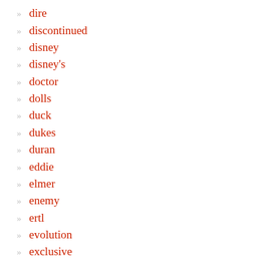dire
discontinued
disney
disney's
doctor
dolls
duck
dukes
duran
eddie
elmer
enemy
ertl
evolution
exclusive